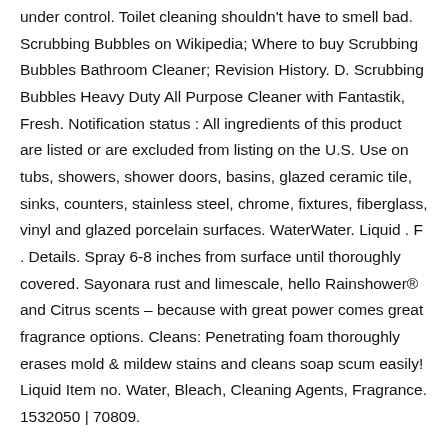under control. Toilet cleaning shouldn't have to smell bad. Scrubbing Bubbles on Wikipedia; Where to buy Scrubbing Bubbles Bathroom Cleaner; Revision History. D. Scrubbing Bubbles Heavy Duty All Purpose Cleaner with Fantastik, Fresh. Notification status : All ingredients of this product are listed or are excluded from listing on the U.S. Use on tubs, showers, shower doors, basins, glazed ceramic tile, sinks, counters, stainless steel, chrome, fixtures, fiberglass, vinyl and glazed porcelain surfaces. WaterWater. Liquid . F . Details. Spray 6-8 inches from surface until thoroughly covered. Sayonara rust and limescale, hello Rainshower® and Citrus scents – because with great power comes great fragrance options. Cleans: Penetrating foam thoroughly erases mold & mildew stains and cleans soap scum easily! Liquid Item no. Water, Bleach, Cleaning Agents, Fragrance. 1532050 | 70809.